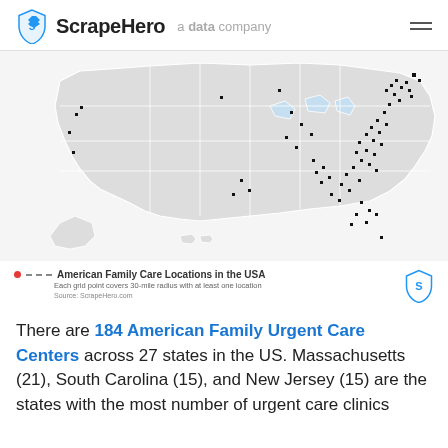ScrapeHero a data company
[Figure (map): Map of the United States showing American Family Care locations marked with black dots, concentrated in eastern US states, with ScrapeHero logo watermark.]
American Family Care Locations in the USA. Each grid point covers 30-mile radius with at least one location. Source: ScrapeHero.com
There are 184 American Family Urgent Care Centers across 27 states in the US. Massachusetts (21), South Carolina (15), and New Jersey (15) are the states with the most number of urgent care clinics